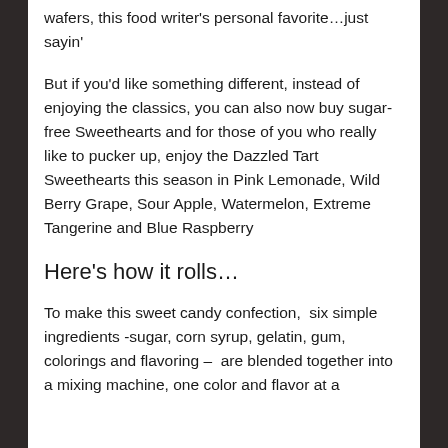wafers, this food writer's personal favorite…just sayin'
But if you'd like something different, instead of enjoying the classics, you can also now buy sugar-free Sweethearts and for those of you who really like to pucker up, enjoy the Dazzled Tart Sweethearts this season in Pink Lemonade, Wild Berry Grape, Sour Apple, Watermelon, Extreme Tangerine and Blue Raspberry
Here's how it rolls…
To make this sweet candy confection,  six simple ingredients -sugar, corn syrup, gelatin, gum, colorings and flavoring –  are blended together into a mixing machine, one color and flavor at a